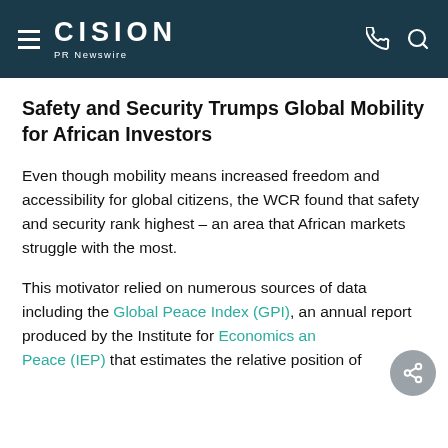CISION PR Newswire
Safety and Security Trumps Global Mobility for African Investors
Even though mobility means increased freedom and accessibility for global citizens, the WCR found that safety and security rank highest – an area that African markets struggle with the most.
This motivator relied on numerous sources of data including the Global Peace Index (GPI), an annual report produced by the Institute for Economics and Peace (IEP) that estimates the relative position of